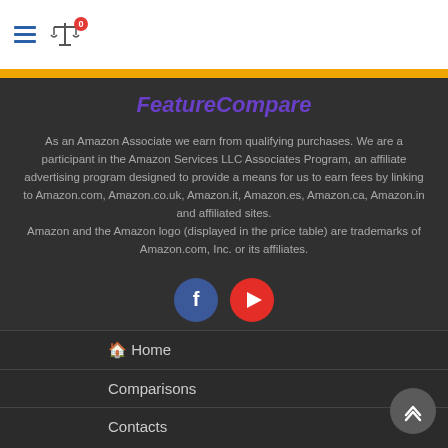FeatureCompare - navigation header with hamburger menu and compare icon
FeatureCompare
As an Amazon Associate we earn from qualifying purchases. We are a participant in the Amazon Services LLC Associates Program, an affiliate advertising program designed to provide a means for us to earn fees by linking to Amazon.com, Amazon.co.uk, Amazon.it, Amazon.es, Amazon.ca, Amazon.in and affiliated sites. Amazon and the Amazon logo (displayed in the price table) are trademarks of Amazon.com, Inc. or its affiliates.
[Figure (infographic): Facebook and YouTube social media icon buttons]
Home
Comparisons
Contacts